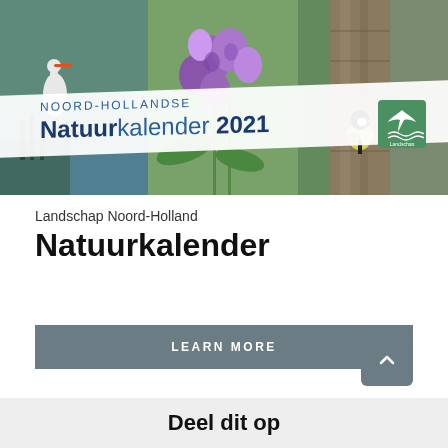[Figure (photo): Photo banner showing nature scenes: a bird (stork) on the left, purple orchid flowers in the center, and a small bird on a branch on the right. White diagonal overlay strip with calendar text.]
NOORD-HOLLANDSE Natuurkalender 2021
Landschap Noord-Holland
Natuurkalender
LEARN MORE
Deel dit op